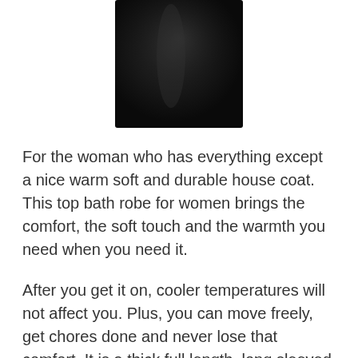[Figure (photo): Partial view of a black bath robe/house coat garment shown from the waist down against a white background]
For the woman who has everything except a nice warm soft and durable house coat. This top bath robe for women brings the comfort, the soft touch and the warmth you need when you need it.
After you get it on, cooler temperatures will not affect you. Plus, you can move freely, get chores done and never lose that comfort. It is a thick full length, long sleeved